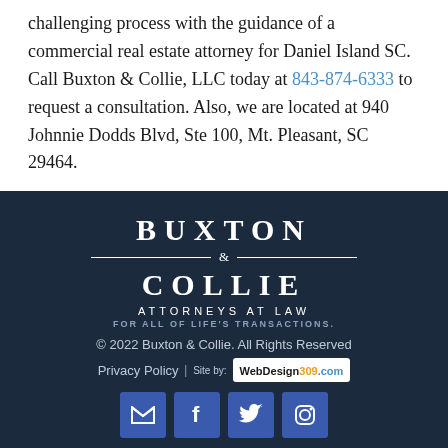challenging process with the guidance of a commercial real estate attorney for Daniel Island SC. Call Buxton & Collie, LLC today at 843-874-6333 to request a consultation. Also, we are located at 940 Johnnie Dodds Blvd, Ste 100, Mt. Pleasant, SC 29464.
[Figure (logo): Buxton & Collie Attorneys at Law logo with tagline 'For All of Life's Transactions.' on dark navy background]
© 2022 Buxton & Collie. All Rights Reserved | Privacy Policy | Site by: WebDesign309.com | Social icons: email, facebook, twitter, instagram | TEXT US